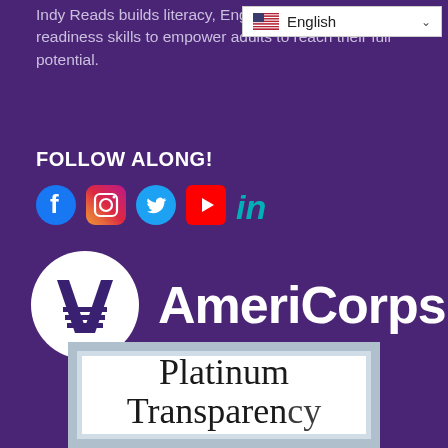Indy Reads builds literacy, English language, and work readiness skills to empower adults to reach their full potential.
FOLLOW ALONG!
[Figure (logo): Social media icons row: Facebook (blue circle), Instagram (gradient), Twitter (blue circle), YouTube (red square), LinkedIn (teal text)]
[Figure (logo): AmeriCorps logo: white circle with stylized A mark and horizontal lines, with 'AmeriCorps' text in white bold font]
[Figure (other): Platinum Transparency badge: nested border box in silver/blue-grey tones with white interior, text reads 'Platinum Transparency' in serif font]